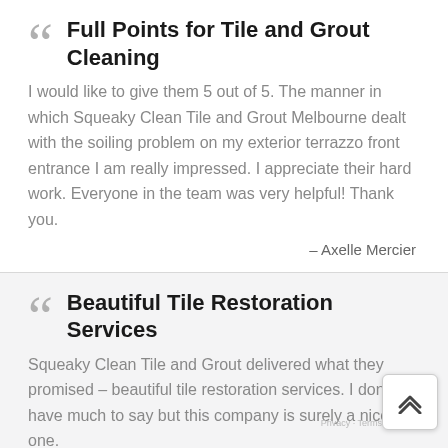Full Points for Tile and Grout Cleaning
I would like to give them 5 out of 5. The manner in which Squeaky Clean Tile and Grout Melbourne dealt with the soiling problem on my exterior terrazzo front entrance I am really impressed. I appreciate their hard work. Everyone in the team was very helpful! Thank you.
- Axelle Mercier
Beautiful Tile Restoration Services
Squeaky Clean Tile and Grout delivered what they promised – beautiful tile restoration services. I don't have much to say but this company is surely a nice one.